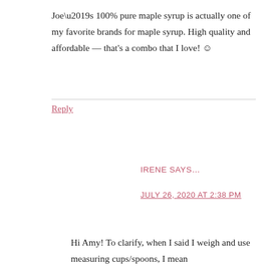Joe’s 100% pure maple syrup is actually one of my favorite brands for maple syrup. High quality and affordable — that’s a combo that I love! ☺
Reply
IRENE SAYS…
JULY 26, 2020 AT 2:38 PM
Hi Amy! To clarify, when I said I weigh and use measuring cups/spoons, I mean